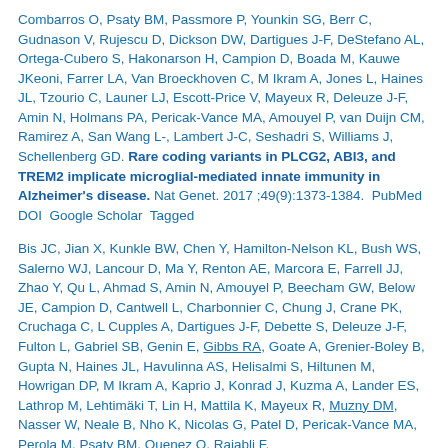Combarros O, Psaty BM, Passmore P, Younkin SG, Berr C, Gudnason V, Rujescu D, Dickson DW, Dartigues J-F, DeStefano AL, Ortega-Cubero S, Hakonarson H, Campion D, Boada M, Kauwe JKeoni, Farrer LA, Van Broeckhoven C, M Ikram A, Jones L, Haines JL, Tzourio C, Launer LJ, Escott-Price V, Mayeux R, Deleuze J-F, Amin N, Holmans PA, Pericak-Vance MA, Amouyel P, van Duijn CM, Ramirez A, San Wang L-, Lambert J-C, Seshadri S, Williams J, Schellenberg GD. Rare coding variants in PLCG2, ABI3, and TREM2 implicate microglial-mediated innate immunity in Alzheimer's disease. Nat Genet. 2017;49(9):1373-1384. PubMed DOI Google Scholar Tagged
Bis JC, Jian X, Kunkle BW, Chen Y, Hamilton-Nelson KL, Bush WS, Salerno WJ, Lancour D, Ma Y, Renton AE, Marcora E, Farrell JJ, Zhao Y, Qu L, Ahmad S, Amin N, Amouyel P, Beecham GW, Below JE, Campion D, Cantwell L, Charbonnier C, Chung J, Crane PK, Cruchaga C, L Cupples A, Dartigues J-F, Debette S, Deleuze J-F, Fulton L, Gabriel SB, Genin E, Gibbs RA, Goate A, Grenier-Boley B, Gupta N, Haines JL, Havulinna AS, Helisalmi S, Hiltunen M, Howrigan DP, M Ikram A, Kaprio J, Konrad J, Kuzma A, Lander ES, Lathrop M, Lehtimäki T, Lin H, Mattila K, Mayeux R, Muzny DM, Nasser W, Neale B, Nho K, Nicolas G, Patel D, Pericak-Vance MA, Perola M, Psaty BM, Quenez O, Rajabli F,